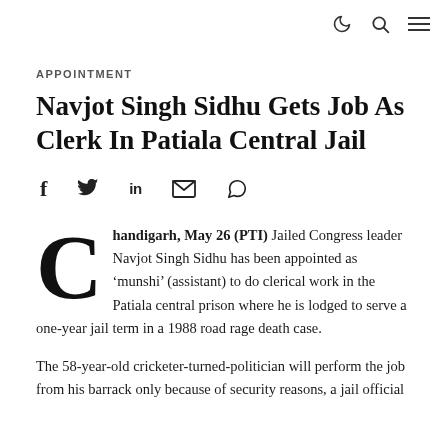☾ 🔍 ≡ (top navigation icons)
APPOINTMENT
Navjot Singh Sidhu Gets Job As Clerk In Patiala Central Jail
[Figure (infographic): Social sharing icons: Facebook (f), Twitter (y/bird), LinkedIn (in), Email (envelope), WhatsApp (phone)]
Chandigarh, May 26 (PTI) Jailed Congress leader Navjot Singh Sidhu has been appointed as 'munshi' (assistant) to do clerical work in the Patiala central prison where he is lodged to serve a one-year jail term in a 1988 road rage death case.
The 58-year-old cricketer-turned-politician will perform the job from his barrack only because of security reasons, a jail official